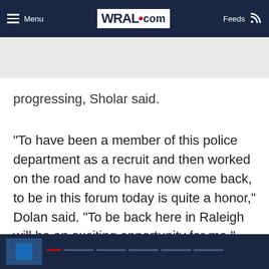Menu | WRAL.com | Feeds
progressing, Sholar said.
"To have been a member of this police department as a recruit and then worked on the road and to have now come back, to be in this forum today is quite a honor," Dolan said. "To be back here in Raleigh will be an exciting opportunity for me."
[Figure (screenshot): Bottom video player bar with WRAL navy blue background, progress bar indicators in red and gray, and a video thumbnail on the left.]